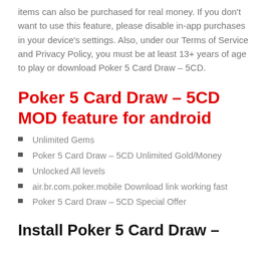items can also be purchased for real money. If you don't want to use this feature, please disable in-app purchases in your device's settings. Also, under our Terms of Service and Privacy Policy, you must be at least 13+ years of age to play or download Poker 5 Card Draw – 5CD.
Poker 5 Card Draw – 5CD MOD feature for android
Unlimited Gems
Poker 5 Card Draw – 5CD Unlimited Gold/Money
Unlocked All levels
air.br.com.poker.mobile Download link working fast
Poker 5 Card Draw – 5CD Special Offer
Install Poker 5 Card Draw –